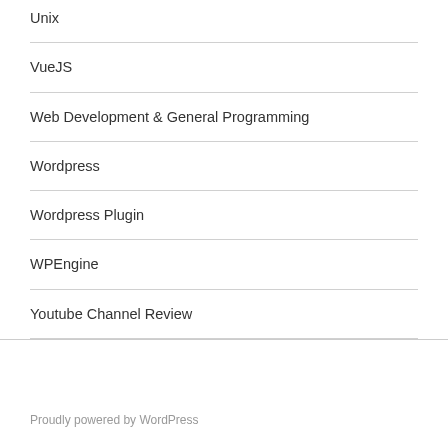Unix
VueJS
Web Development & General Programming
Wordpress
Wordpress Plugin
WPEngine
Youtube Channel Review
Proudly powered by WordPress